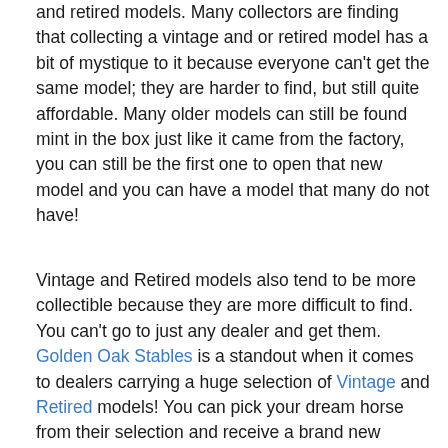and retired models. Many collectors are finding that collecting a vintage and or retired model has a bit of mystique to it because everyone can't get the same model; they are harder to find, but still quite affordable. Many older models can still be found mint in the box just like it came from the factory, you can still be the first one to open that new model and you can have a model that many do not have!
Vintage and Retired models also tend to be more collectible because they are more difficult to find. You can't go to just any dealer and get them. Golden Oak Stables is a standout when it comes to dealers carrying a huge selection of Vintage and Retired models! You can pick your dream horse from their selection and receive a brand new model with far more collectibility to it than a current regular run.